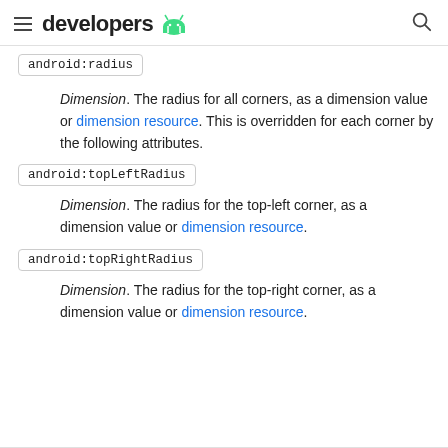developers
android:radius
Dimension. The radius for all corners, as a dimension value or dimension resource. This is overridden for each corner by the following attributes.
android:topLeftRadius
Dimension. The radius for the top-left corner, as a dimension value or dimension resource.
android:topRightRadius
Dimension. The radius for the top-right corner, as a dimension value or dimension resource.